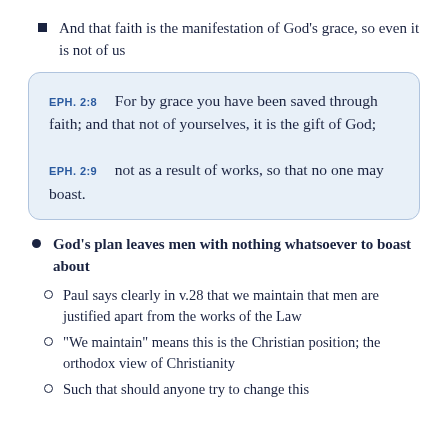And that faith is the manifestation of God's grace, so even it is not of us
EPH. 2:8  For by grace you have been saved through faith; and that not of yourselves, it is the gift of God;
EPH. 2:9  not as a result of works, so that no one may boast.
God's plan leaves men with nothing whatsoever to boast about
Paul says clearly in v.28 that we maintain that men are justified apart from the works of the Law
“We maintain” means this is the Christian position; the orthodox view of Christianity
Such that should anyone try to change this